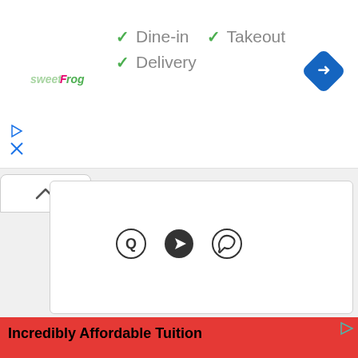[Figure (screenshot): sweetFrog logo in green and pink italic text]
✓ Dine-in  ✓ Takeout
✓ Delivery
[Figure (illustration): Blue diamond navigation/directions icon with white arrow]
[Figure (illustration): Small play button ad icon and X button]
[Figure (illustration): Caret up chevron tab button]
[Figure (illustration): Three social share icons: Quora Q, Telegram paper plane, WhatsApp speech bubble]
[Figure (screenshot): Red advertisement banner with text 'Incredibly Affordable Tuition', Ad label and NOVA brand name, partial view of a game ad showing 'Which has more trees? Germany or India' with country outlines, and 'PLAY NOW!! 99% of players can't get 10/10. Can you crack it?' on green background. Close X button visible.]